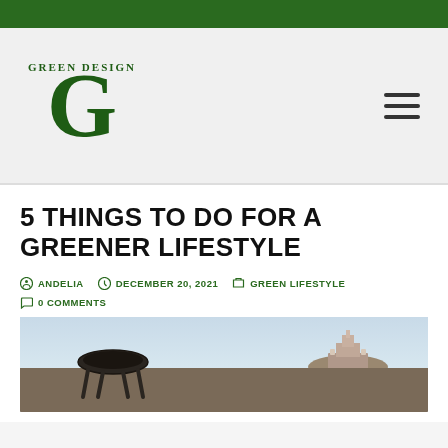[Figure (logo): Green Design website logo with large G letterform in dark green and text 'GREEN DESIGN' above it]
5 THINGS TO DO FOR A GREENER LIFESTYLE
ANDELIA   DECEMBER 20, 2021   GREEN LIFESTYLE   0 COMMENTS
[Figure (photo): Outdoor scene with a dark metal chair/bowl in the foreground and a castle or fort on a rocky hill in the background, with a blue sky]